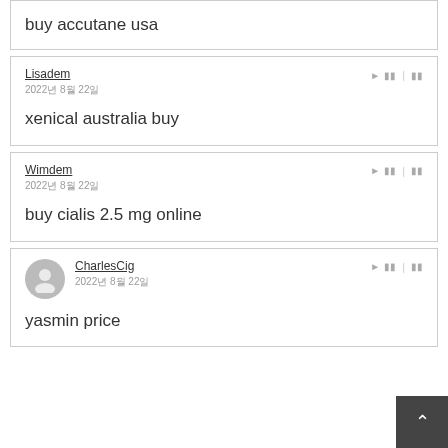buy accutane usa
Lisadem
2022년 8월 22일
xenical australia buy
Wimdem
2022년 8월 22일
buy cialis 2.5 mg online
CharlesCig
2022년 8월 22일
yasmin price